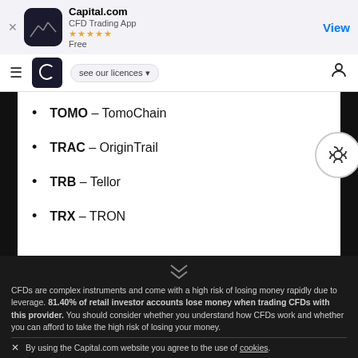[Figure (screenshot): Capital.com app store banner with icon, 5-star rating, and View button]
[Figure (screenshot): Capital.com navigation bar with hamburger menu, logo, licence dropdown, and user icon]
TOMO – TomoChain
TRAC – OriginTrail
TRB – Tellor
TRX – TRON
CFDs are complex instruments and come with a high risk of losing money rapidly due to leverage. 81.40% of retail investor accounts lose money when trading CFDs with this provider. You should consider whether you understand how CFDs work and whether you can afford to take the high risk of losing your money.
By using the Capital.com website you agree to the use of cookies.